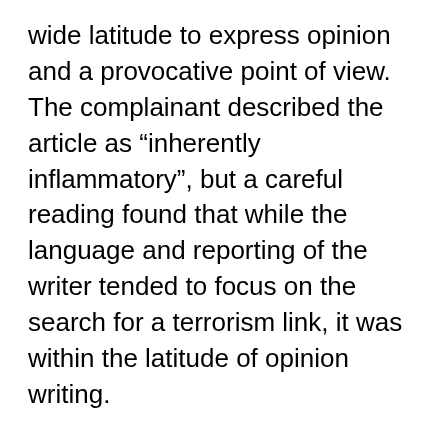wide latitude to express opinion and a provocative point of view. The complainant described the article as “inherently inflammatory”, but a careful reading found that while the language and reporting of the writer tended to focus on the search for a terrorism link, it was within the latitude of opinion writing.
The allegation that the address had no relevance to the story must be considered in balance with the view that an address is relevant in terms of the ability of journalists to gather facts in the public interest, and to